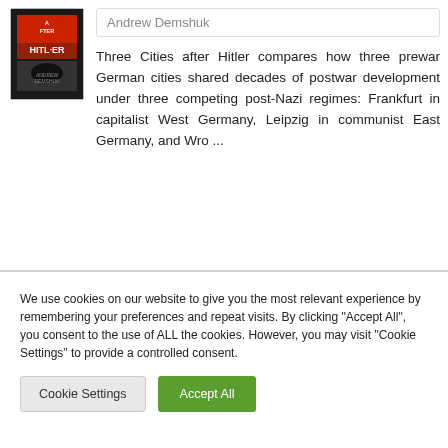Andrew Demshuk
Three Cities after Hitler compares how three prewar German cities shared decades of postwar development under three competing post-Nazi regimes: Frankfurt in capitalist West Germany, Leipzig in communist East Germany, and Wro ...
We use cookies on our website to give you the most relevant experience by remembering your preferences and repeat visits. By clicking "Accept All", you consent to the use of ALL the cookies. However, you may visit "Cookie Settings" to provide a controlled consent.